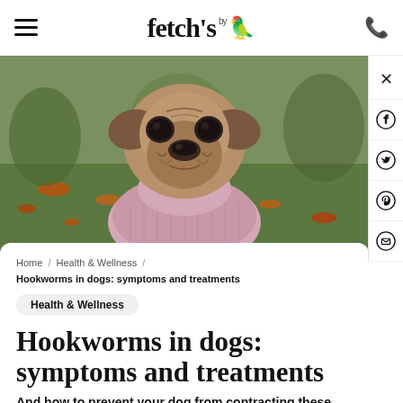fetch's [logo] | hamburger menu | phone icon
[Figure (photo): A pug dog wearing a pink knit sweater, sitting outdoors in a park with autumn leaves on the ground. The dog faces the camera with a characteristic wrinkled face.]
Home / Health & Wellness / Hookworms in dogs: symptoms and treatments
Health & Wellness
Hookworms in dogs: symptoms and treatments
And how to prevent your dog from contracting these parasites.